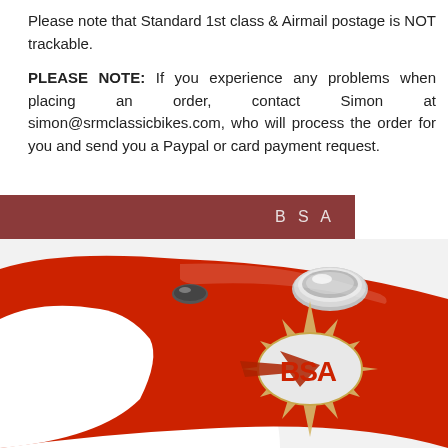Please note that Standard 1st class & Airmail postage is NOT trackable.
PLEASE NOTE: If you experience any problems when placing an order, contact Simon at simon@srmclassicbikes.com, who will process the order for you and send you a Paypal or card payment request.
BSA
[Figure (photo): Close-up photograph of a red and white BSA motorcycle fuel tank with the BSA logo badge visible on the side. The tank features a chrome fuel cap. The BSA logo consists of the letters BSA in red on an oval with a sunburst/star background in gold/cream colors.]